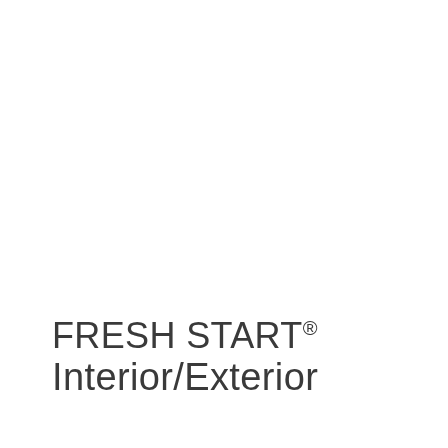FRESH START® Interior/Exterior